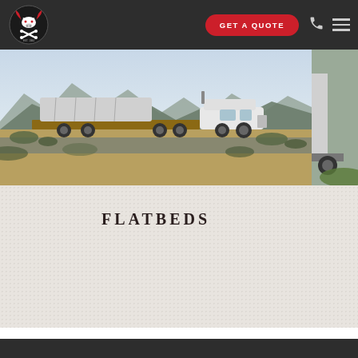[Figure (logo): Cowtown Express logo with longhorn skull, crossed bones, and 'EST. 1984' text]
GET A QUOTE
[Figure (photo): White flatbed semi-truck with covered load driving through desert landscape with mountains in background]
FLATBEDS